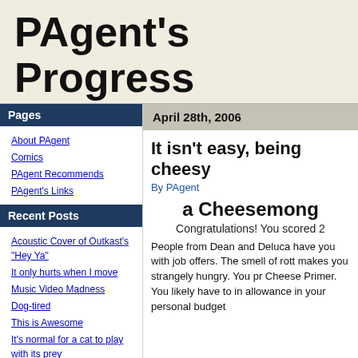PAgent's Progress
Words Are My Favorite Toys
Pages
About PAgent
Comics
PAgent Recommends
PAgent's Links
Recent Posts
Acoustic Cover of Outkast's "Hey Ya"
It only hurts when I move
Music Video Madness
Dog-tired
This is Awesome
It's normal for a cat to play with its prey
Some Sincere Flattery Going On at Pixar
Music Video Madness
April 28th, 2006
It isn't easy, being cheesy
By PAgent
a Cheesemong
Congratulations! You scored 2
People from Dean and Deluca have you with job offers. The smell of rott makes you strangely hungry. You pr Cheese Primer. You likely have to in allowance in your personal budget